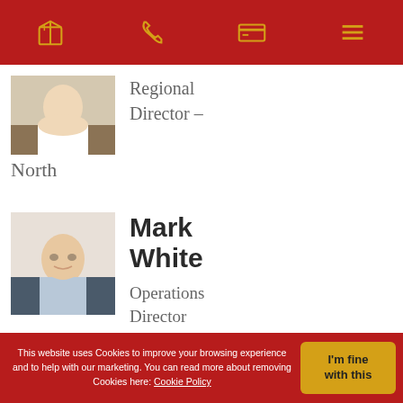Navigation header with logo, phone, payment, and menu icons
Regional Director – North
Mark White
Operations Director
Claire
This website uses Cookies to improve your browsing experience and to help with our marketing. You can read more about removing Cookies here: Cookie Policy